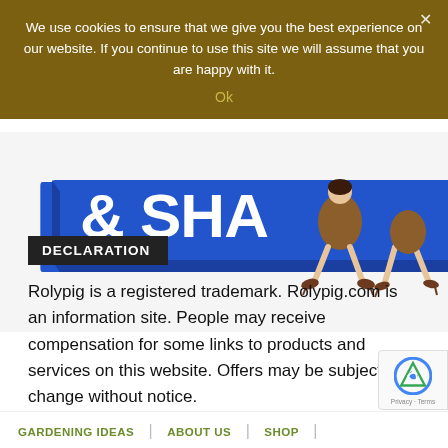We use cookies to ensure that we give you the best experience on our website. If you continue to use this site we will assume that you are happy with it. Ok ×
[Figure (illustration): A blue sign with white text showing '& SHA...' letters, with a cartoon woman in a dress and heels sitting/leaning on the sign. White background.]
DECLARATION
Rolypig is a registered trademark. Rolypig.com is an information site. People may receive compensation for some links to products and services on this website. Offers may be subject to change without notice.
GARDENING IDEAS | ABOUT US | SHOP |